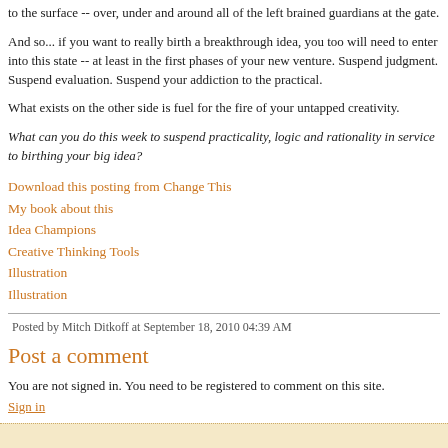to the surface -- over, under and around all of the left brained guardians at the gate.
And so... if you want to really birth a breakthrough idea, you too will need to enter into this state -- at least in the first phases of your new venture. Suspend judgment. Suspend evaluation. Suspend your addiction to the practical.
What exists on the other side is fuel for the fire of your untapped creativity.
What can you do this week to suspend practicality, logic and rationality in service to birthing your big idea?
Download this posting from Change This
My book about this
Idea Champions
Creative Thinking Tools
Illustration
Illustration
Posted by Mitch Ditkoff at September 18, 2010 04:39 AM
Post a comment
You are not signed in. You need to be registered to comment on this site. Sign in